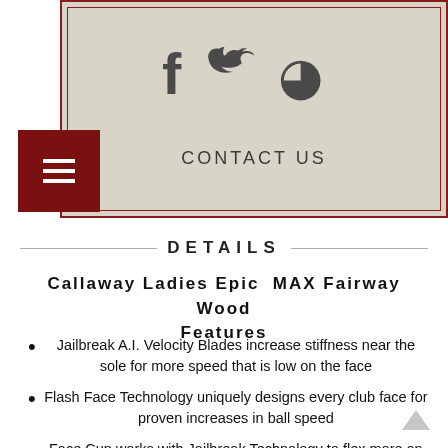[Figure (screenshot): Beige/tan header box with social media icons (Facebook, Twitter, Pinterest) and 'CONTACT US' text, plus a dark red menu button with three horizontal lines]
DETAILS
Callaway Ladies Epic  MAX Fairway Wood Features
Jailbreak A.I. Velocity Blades increase stiffness near the sole for more speed that is low on the face
Flash Face Technology uniquely designs every club face for proven increases in ball speed
Face Cup works with Jailbreak Technology to flex more on the crown for more consistent spin and greater forgiveness
High-strength C300 maraging steel face is incredibly